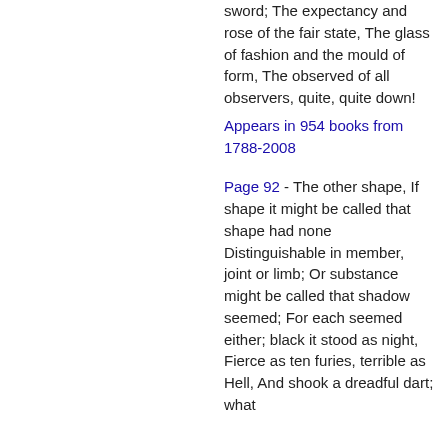sword; The expectancy and rose of the fair state, The glass of fashion and the mould of form, The observed of all observers, quite, quite down!
Appears in 954 books from 1788-2008
Page 92 - The other shape, If shape it might be called that shape had none Distinguishable in member, joint or limb; Or substance might be called that shadow seemed; For each seemed either; black it stood as night, Fierce as ten furies, terrible as Hell, And shook a dreadful dart; what